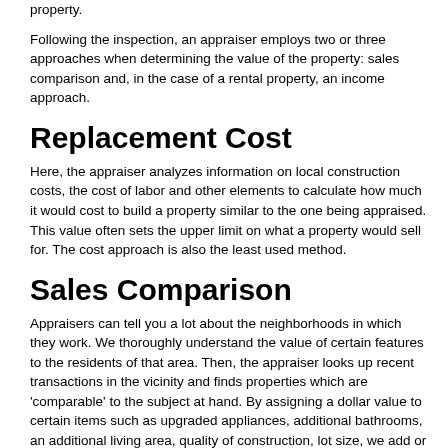property.
Following the inspection, an appraiser employs two or three approaches when determining the value of the property: sales comparison and, in the case of a rental property, an income approach.
Replacement Cost
Here, the appraiser analyzes information on local construction costs, the cost of labor and other elements to calculate how much it would cost to build a property similar to the one being appraised. This value often sets the upper limit on what a property would sell for. The cost approach is also the least used method.
Sales Comparison
Appraisers can tell you a lot about the neighborhoods in which they work. We thoroughly understand the value of certain features to the residents of that area. Then, the appraiser looks up recent transactions in the vicinity and finds properties which are 'comparable' to the subject at hand. By assigning a dollar value to certain items such as upgraded appliances, additional bathrooms, an additional living area, quality of construction, lot size, we add or subtract from each comparable's sales price so that they more accurately portray the features of subject.
If, for example, the comparable has a fireplace and the subject